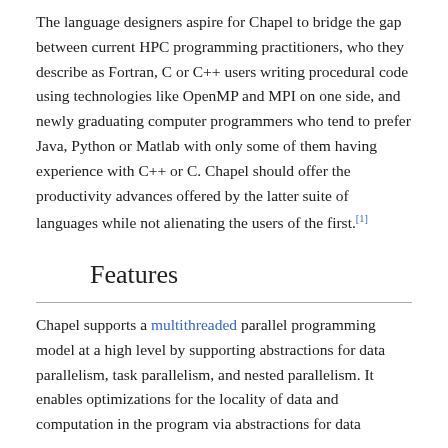The language designers aspire for Chapel to bridge the gap between current HPC programming practitioners, who they describe as Fortran, C or C++ users writing procedural code using technologies like OpenMP and MPI on one side, and newly graduating computer programmers who tend to prefer Java, Python or Matlab with only some of them having experience with C++ or C. Chapel should offer the productivity advances offered by the latter suite of languages while not alienating the users of the first.[1]
Features
Chapel supports a multithreaded parallel programming model at a high level by supporting abstractions for data parallelism, task parallelism, and nested parallelism. It enables optimizations for the locality of data and computation in the program via abstractions for data